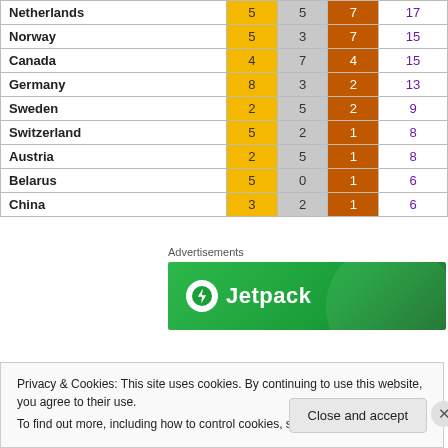| Country | Gold | Silver | Bronze | Total |
| --- | --- | --- | --- | --- |
| Netherlands | 5 | 5 | 7 | 17 |
| Norway | 5 | 3 | 7 | 15 |
| Canada | 4 | 7 | 4 | 15 |
| Germany | 8 | 3 | 2 | 13 |
| Sweden | 2 | 5 | 2 | 9 |
| Switzerland | 5 | 2 | 1 | 8 |
| Austria | 2 | 5 | 1 | 8 |
| Belarus | 5 | 0 | 1 | 6 |
| China | 3 | 2 | 1 | 6 |
Advertisements
[Figure (logo): Jetpack advertisement banner with green background and Jetpack logo]
Privacy & Cookies: This site uses cookies. By continuing to use this website, you agree to their use.
To find out more, including how to control cookies, see here: Cookie Policy